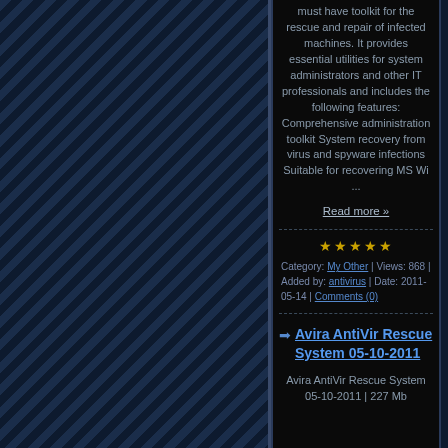[Figure (other): Left panel with diagonal striped pattern in dark navy blue]
must have toolkit for the rescue and repair of infected machines. It provides essential utilities for system administrators and other IT professionals and includes the following features: Comprehensive administration toolkit System recovery from virus and spyware infections Suitable for recovering MS Wi ...
Read more »
★★★★★
Category: My Other | Views: 868 | Added by: antivirus | Date: 2011-05-14 | Comments (0)
Avira AntiVir Rescue System 05-10-2011
Avira AntiVir Rescue System 05-10-2011 | 227 Mb